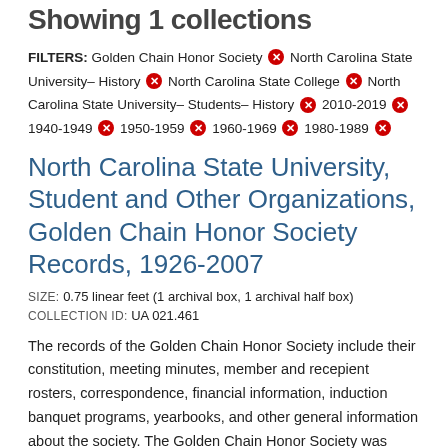Showing 1 collections
FILTERS: Golden Chain Honor Society ✕ North Carolina State University– History ✕ North Carolina State College ✕ North Carolina State University– Students– History ✕ 2010-2019 ✕ 1940-1949 ✕ 1950-1959 ✕ 1960-1969 ✕ 1980-1989 ✕
North Carolina State University, Student and Other Organizations, Golden Chain Honor Society Records, 1926-2007
SIZE: 0.75 linear feet (1 archival box, 1 archival half box)
COLLECTION ID: UA 021.461
The records of the Golden Chain Honor Society include their constitution, meeting minutes, member and recepient rosters, correspondence, financial information, induction banquet programs, yearbooks, and other general information about the society. The Golden Chain Honor Society was begun after a